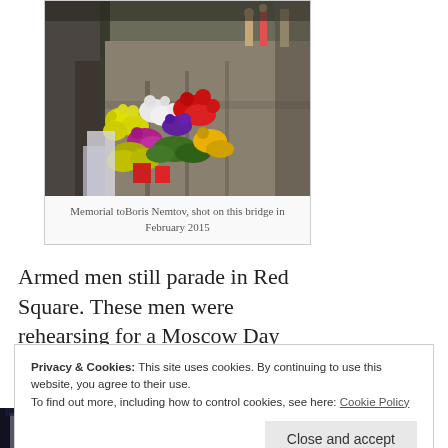[Figure (photo): Photo of a flower memorial with colorful flowers (yellow, red, white, purple) laid along a bridge railing on a sunny day, with people visible in the background.]
Memorial toBoris Nemtov, shot on this bridge in February 2015
Armed men still parade in Red Square. These men were rehearsing for a Moscow Day celebration.
Privacy & Cookies: This site uses cookies. By continuing to use this website, you agree to their use.
To find out more, including how to control cookies, see here: Cookie Policy
[Figure (photo): Partial bottom photo showing armed men in a dark scene, likely Red Square.]